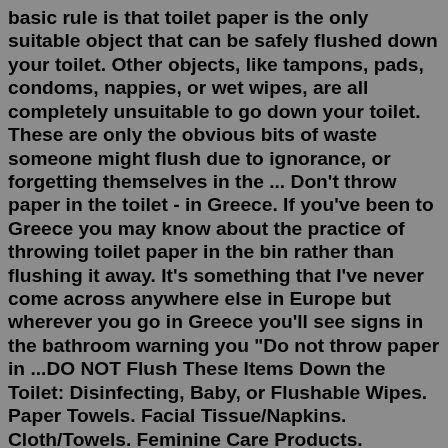basic rule is that toilet paper is the only suitable object that can be safely flushed down your toilet. Other objects, like tampons, pads, condoms, nappies, or wet wipes, are all completely unsuitable to go down your toilet. These are only the obvious bits of waste someone might flush due to ignorance, or forgetting themselves in the ... Don't throw paper in the toilet - in Greece. If you've been to Greece you may know about the practice of throwing toilet paper in the bin rather than flushing it away. It's something that I've never come across anywhere else in Europe but wherever you go in Greece you'll see signs in the bathroom warning you "Do not throw paper in ...DO NOT Flush These Items Down the Toilet: Disinfecting, Baby, or Flushable Wipes. Paper Towels. Facial Tissue/Napkins. Cloth/Towels. Feminine Care Products. Medicine. Not only do clogs affect our pipes, but they can affect yours, potentially causing a basement backup and an expensive phone call to your plumber. Thanks for flushing toilet tissue only. — This house utilizes a septic system. Please do not